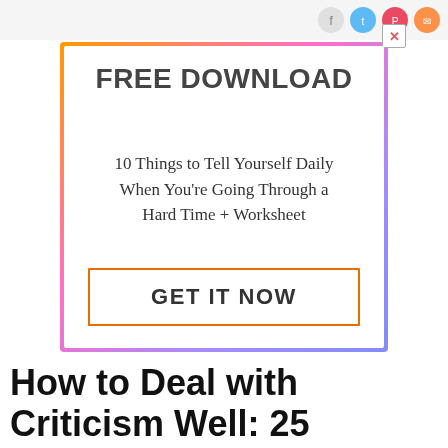[Figure (other): Advertisement banner: FREE DOWNLOAD - 10 Things to Tell Yourself Daily When You're Going Through a Hard Time + Worksheet with GET IT NOW button, surrounded by colorful gradient border]
How to Deal with Criticism Well: 25 Reasons to Embrace It